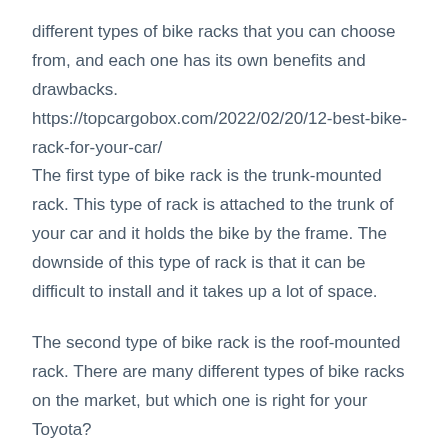different types of bike racks that you can choose from, and each one has its own benefits and drawbacks. https://topcargobox.com/2022/02/20/12-best-bike-rack-for-your-car/ The first type of bike rack is the trunk-mounted rack. This type of rack is attached to the trunk of your car and it holds the bike by the frame. The downside of this type of rack is that it can be difficult to install and it takes up a lot of space.
The second type of bike rack is the roof-mounted rack. There are many different types of bike racks on the market, but which one is right for your Toyota?